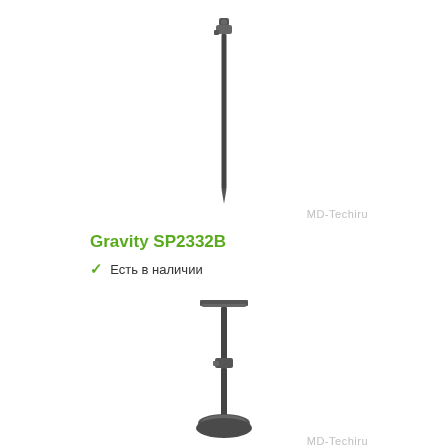[Figure (photo): A black speaker/PA pole stand extension tube with a connector at top, shown vertically against white background]
Gravity SP2332B
✓ Есть в наличии
[Figure (photo): A black speaker stand with a flat square tray/platform on top and heavy tripod base at bottom, shown vertically against white background]